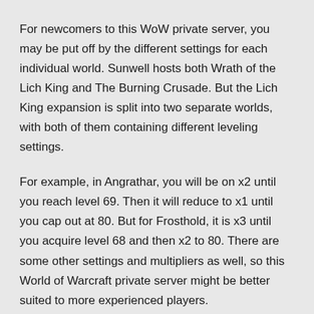For newcomers to this WoW private server, you may be put off by the different settings for each individual world. Sunwell hosts both Wrath of the Lich King and The Burning Crusade. But the Lich King expansion is split into two separate worlds, with both of them containing different leveling settings.
For example, in Angrathar, you will be on x2 until you reach level 69. Then it will reduce to x1 until you cap out at 80. But for Frosthold, it is x3 until you acquire level 68 and then x2 to 80. There are some other settings and multipliers as well, so this World of Warcraft private server might be better suited to more experienced players.
8.    Endless